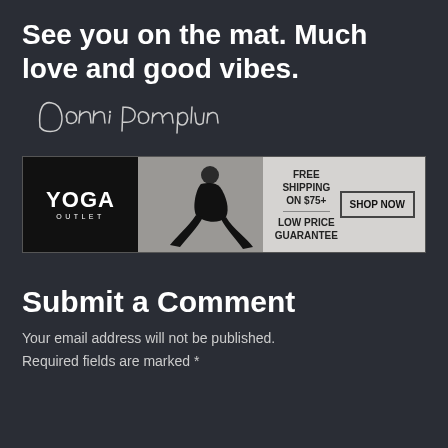See you on the mat. Much love and good vibes.
[Figure (illustration): Handwritten signature reading 'Donni Pomplan']
[Figure (infographic): Yoga Outlet advertisement banner: FREE SHIPPING ON $75+, LOW PRICE GUARANTEE, SHOP NOW button, with yoga model photo]
Submit a Comment
Your email address will not be published. Required fields are marked *